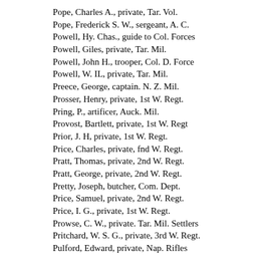Pope, Charles A., private, Tar. Vol.
Pope, Frederick S. W., sergeant, A. C.
Powell, Hy. Chas., guide to Col. Forces
Powell, Giles, private, Tar. Mil.
Powell, John H., trooper, Col. D. Force
Powell, W. IL, private, Tar. Mil.
Preece, George, captain. N. Z. Mil.
Prosser, Henry, private, 1st W. Regt.
Pring, P., artificer, Auck. Mil.
Provost, Bartlett, private, 1st W. Regt
Prior, J. H, private, 1st W. Regt.
Price, Charles, private, fnd W. Regt.
Pratt, Thomas, private, 2nd W. Regt.
Pratt, George, private, 2nd W. Regt.
Pretty, Joseph, butcher, Com. Dept.
Price, Samuel, private, 2nd W. Regt.
Price, I. G., private, 1st W. Regt.
Prowse, C. W., private. Tar. Mil. Settlers
Pritchard, W. S. G., private, 3rd W. Regt.
Pulford, Edward, private, Nap. Rifles